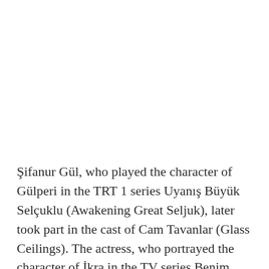Şifanur Gül, who played the character of Gülperi in the TRT 1 series Uyanış Büyük Selçuklu (Awakening Great Seljuk), later took part in the cast of Cam Tavanlar (Glass Ceilings). The actress, who portrayed the character of İkra in the TV series Benim Adım Melek (My Name is Melek), also attracted